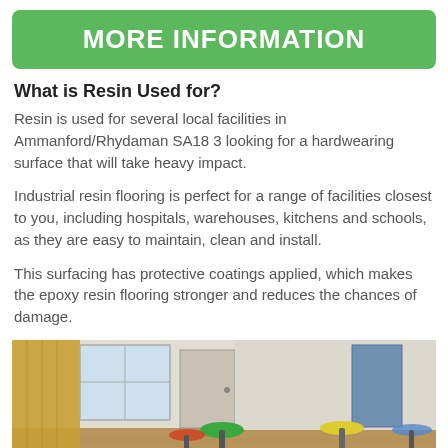MORE INFORMATION
What is Resin Used for?
Resin is used for several local facilities in Ammanford/Rhydaman SA18 3 looking for a hardwearing surface that will take heavy impact.
Industrial resin flooring is perfect for a range of facilities closest to you, including hospitals, warehouses, kitchens and schools, as they are easy to maintain, clean and install.
This surfacing has protective coatings applied, which makes the epoxy resin flooring stronger and reduces the chances of damage.
[Figure (photo): Interior photo of a hospital or care facility room showing colorful wheeled stools (green, red, yellow) on a wood-effect floor with curtains and doors visible in the background.]